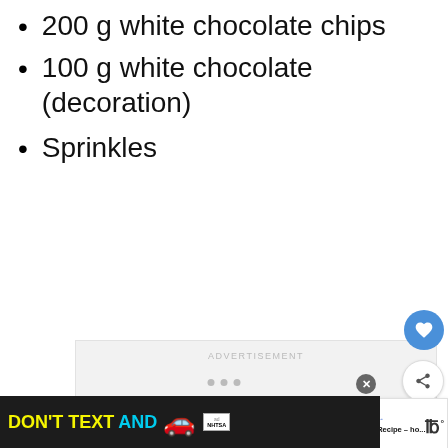200 g white chocolate chips
100 g white chocolate (decoration)
Sprinkles
[Figure (screenshot): Advertisement placeholder box with 'ADVERTISEMENT' label in light gray on a light gray background]
[Figure (screenshot): Bottom banner ad: DON'T TEXT AND [car emoji] with NHTSA branding on dark background]
[Figure (screenshot): What's Next panel showing Easy Blondie Recipe thumbnail and text]